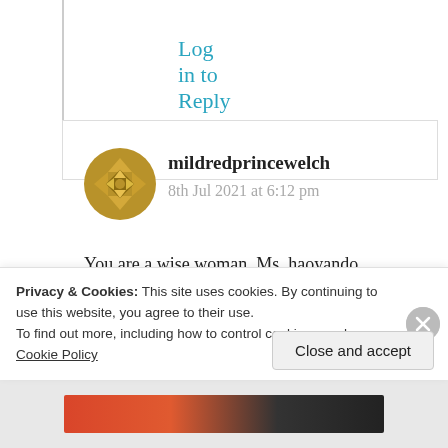Log in to Reply
[Figure (illustration): Circular avatar/gravatar icon with gold/yellow geometric star pattern on dark gold background]
mildredprincewelch
8th Jul 2021 at 6:12 pm
You are a wise woman. Ms. haoyando, and your favorable response in Suma’s favor has energized me to tell the real story to rebut your response based on
Privacy & Cookies: This site uses cookies. By continuing to use this website, you agree to their use.
To find out more, including how to control cookies, see here: Cookie Policy
Close and accept